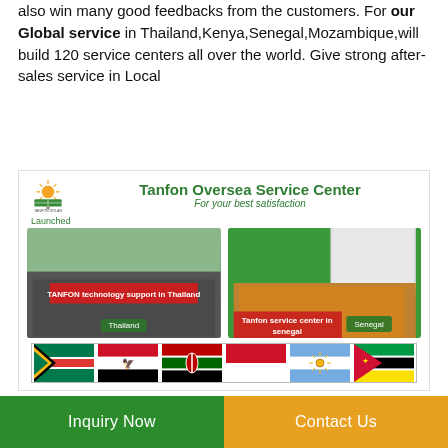also win many good feedbacks from the customers. For our Global service in Thailand,Kenya,Senegal,Mozambique,will build 120 service centers all over the world. Give strong after-sales service in Local
[Figure (infographic): Tanfon Oversea Service Center banner with logo, title 'Tanfon Oversea Service Center', subtitle 'For your best satisfaction', photos of Thailand and Senegal service centers, and flags of South Africa, Egypt, Kenya, Indonesia, Argentina, Mozambique]
Inquiry Now    Contact Us